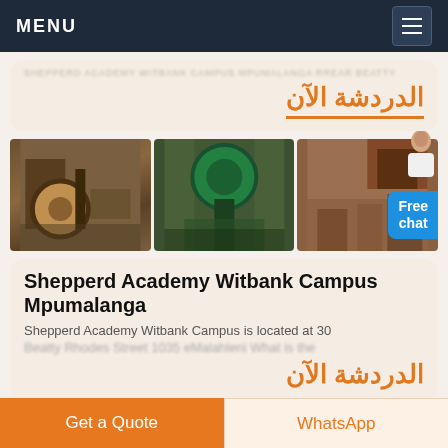MENU
[blurred text line]
الدردشة الآن
[Figure (photo): Three side-by-side photos of industrial milling/grinding machinery at a quarry or construction site. A 'Free chat' badge appears on the right side with a person icon.]
Shepperd Academy Witbank Campus Mpumalanga
Shepperd Academy Witbank Campus is located at 30 Beatty Rhodes Street 1035 eMalahleni What is the
الدردشة الآن
Get a Quote
WhatsApp